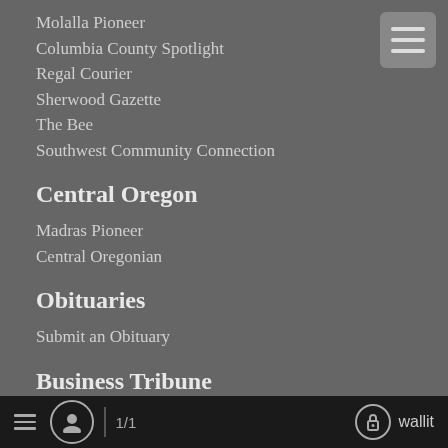Molalla Pioneer
Columbia County Spotlight
Regal Courier
Sherwood Gazette
The Bee
Southwest Community Connection
Central Oregon
Madras Pioneer
Central Oregonian
Obituaries
Submit an Obituary
Business Tribune
Columns
Public Notices
Oregon Property Foreclosures
1/1  wallit